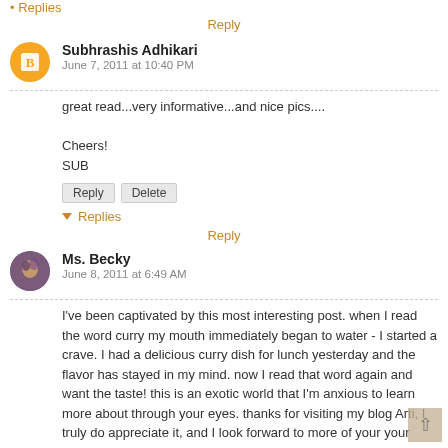▸ Replies
Reply
Subhrashis Adhikari
June 7, 2011 at 10:40 PM
great read...very informative...and nice pics....
Cheers!
SUB
Reply    Delete
▾ Replies
Reply
Ms. Becky
June 8, 2011 at 6:49 AM
I've been captivated by this most interesting post. when I read the word curry my mouth immediately began to water - I started a crave. I had a delicious curry dish for lunch yesterday and the flavor has stayed in my mind. now I read that word again and want the taste! this is an exotic world that I'm anxious to learn more about through your eyes. thanks for visiting my blog Arti, I truly do appreciate it, and I look forward to more of your your intriguing posts. have a wonderful week.